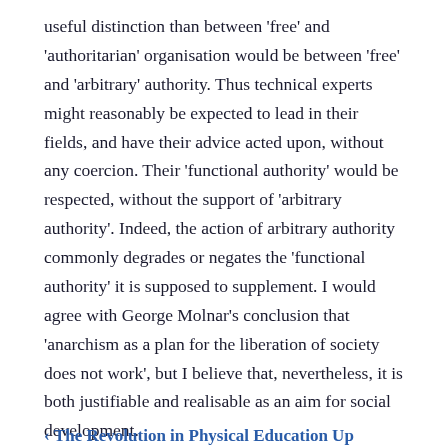useful distinction than between 'free' and 'authoritarian' organisation would be between 'free' and 'arbitrary' authority. Thus technical experts might reasonably be expected to lead in their fields, and have their advice acted upon, without any coercion. Their 'functional authority' would be respected, without the support of 'arbitrary authority'. Indeed, the action of arbitrary authority commonly degrades or negates the 'functional authority' it is supposed to supplement. I would agree with George Molnar's conclusion that 'anarchism as a plan for the liberation of society does not work', but I believe that, nevertheless, it is both justifiable and realisable as an aim for social development.
London.
B. LESLIE.
‹ The Revolution in Physical Education  Up